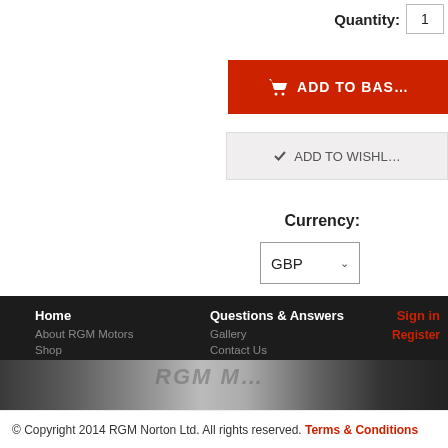Quantity: 1
ADD TO BASKET
ADD TO WISHLIST
Currency:
GBP
Home
About RGM Motors
Shop
Tech Tips, Help & Instructions
Questions & Answers
Gallery
Contact Us
Payment Information
Sign in
Register
[Figure (photo): Motorcycle part photograph strip at bottom of page]
© Copyright 2014 RGM Norton Ltd. All rights reserved. Terms & Conditions